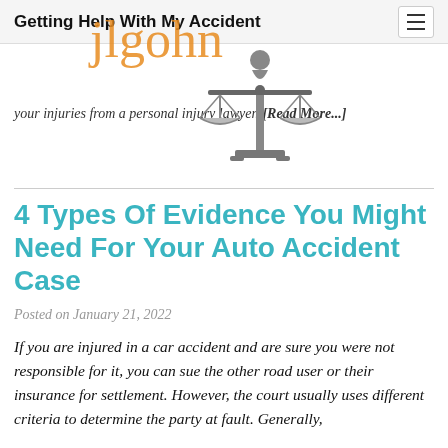Getting Help With My Accident
[Figure (logo): Scales of justice logo/illustration in gray, with orange cursive brand name overlay reading 'jlgohn']
your injuries from a personal injury lawyer. [Read More...]
4 Types Of Evidence You Might Need For Your Auto Accident Case
Posted on January 21, 2022
If you are injured in a car accident and are sure you were not responsible for it, you can sue the other road user or their insurance for settlement. However, the court usually uses different criteria to determine the party at fault. Generally,